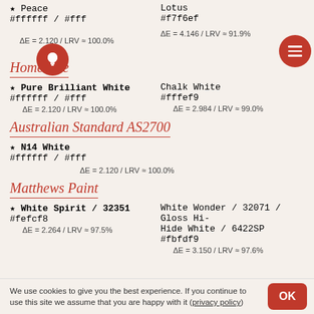Peace / #ffffff / #fff / ΔE = 2.120 / LRV ≈ 100.0%
Lotus / #f7f6ef / ΔE = 4.146 / LRV ≈ 91.9%
Homebase
★ Pure Brilliant White / #ffffff / #fff / ΔE = 2.120 / LRV ≈ 100.0%
Chalk White / #fffef9 / ΔE = 2.984 / LRV ≈ 99.0%
Australian Standard AS2700
★ N14 White / #ffffff / #fff / ΔE = 2.120 / LRV ≈ 100.0%
Matthews Paint
★ White Spirit / 32351 / #fefcf8 / ΔE = 2.264 / LRV ≈ 97.5%
White Wonder / 32071 / Gloss Hi-Hide White / 6422SP / #fbfdf9 / ΔE = 3.150 / LRV ≈ 97.6%
We use cookies to give you the best experience. If you continue to use this site we assume that you are happy with it (privacy policy)